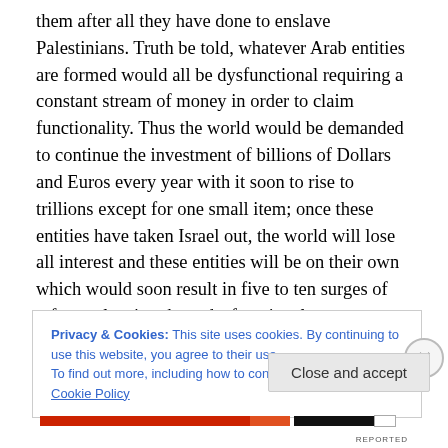them after all they have done to enslave Palestinians. Truth be told, whatever Arab entities are formed would all be dysfunctional requiring a constant stream of money in order to claim functionality. Thus the world would be demanded to continue the investment of billions of Dollars and Euros every year with it soon to rise to trillions except for one small item; once these entities have taken Israel out, the world will lose all interest and these entities will be on their own which would soon result in five to ten surges of refugees leaving these dysfunctional states seeking the comfort of the European Union and member state's safety
Privacy & Cookies: This site uses cookies. By continuing to use this website, you agree to their use.
To find out more, including how to control cookies, see here: Cookie Policy
Close and accept